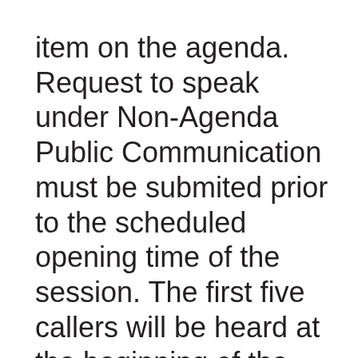item on the agenda. Request to speak under Non-Agenda Public Communication must be submited prior to the scheduled opening time of the session. The first five callers will be heard at the beginning of the session. All remaining callers will be heard at the conclusion of the session. Each speaker will be allowed two minutes to speak. (Refer to Rule 4 of the Board's Rules of